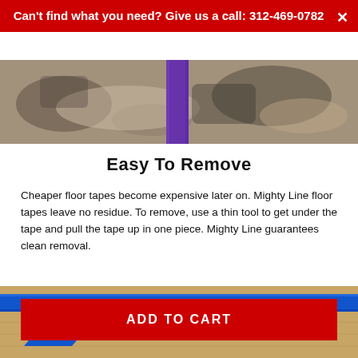Can't find what you need? Give us a call: 312-469-0782
[Figure (photo): Close-up photo of worn floor with a purple floor tape strip running vertically, showing chipped paint and adhesive residue on concrete.]
Easy To Remove
Cheaper floor tapes become expensive later on. Mighty Line floor tapes leave no residue. To remove, use a thin tool to get under the tape and pull the tape up in one piece. Mighty Line guarantees clean removal.
[Figure (photo): Close-up photo of blue floor tape on a wood-grain surface, with the tape peeling back to show easy removal.]
ADD TO CART